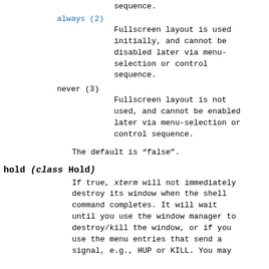sequence.
always (2)
Fullscreen layout is used initially, and cannot be disabled later via menu-selection or control sequence.
never (3)
Fullscreen layout is not used, and cannot be enabled later via menu-selection or control sequence.
The default is “false”.
hold (class Hold)
If true, xterm will not immediately destroy its window when the shell command completes. It will wait until you use the window manager to destroy/kill the window, or if you use the menu entries that send a signal, e.g., HUP or KILL. You may